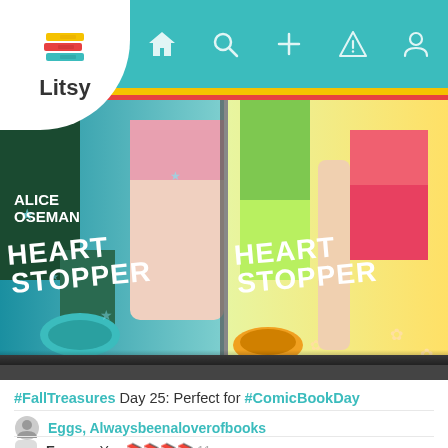Litsy app navigation bar
[Figure (photo): Two copies of Heartstopper by Alice Oseman graphic novel covers, showing illustrated legs of characters, with stars and flowers. Left cover features teal/blue color scheme, right features yellow/green color scheme.]
#FallTreasures Day 25: Perfect for #ComicBookDay
Eggs, Alwaysbeenaloverofbooks
Eggs — Yes 📚📚📚📚 11mo